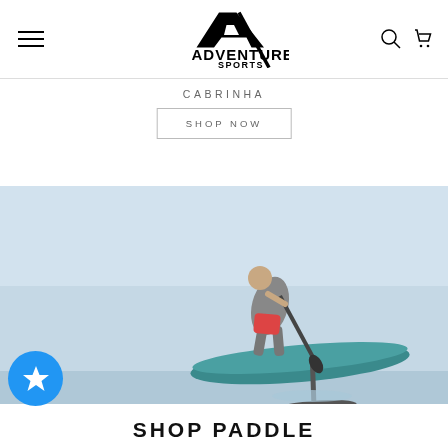Adventure Sports — navigation header with hamburger menu, logo, search and cart icons
CABRINHA
SHOP NOW
[Figure (photo): Man performing a jump on a hydrofoil paddle board over water, light blue sky background]
SHOP PADDLE